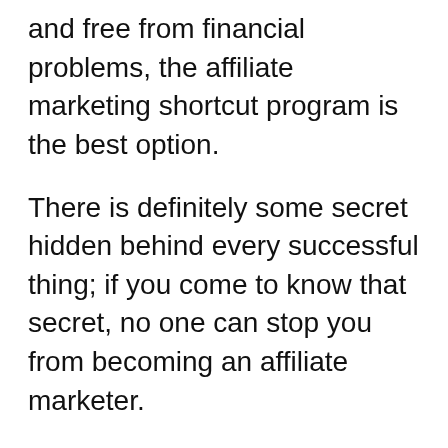and free from financial problems, the affiliate marketing shortcut program is the best option.
There is definitely some secret hidden behind every successful thing; if you come to know that secret, no one can stop you from becoming an affiliate marketer.
So, here is what I recommend go ahead and sign up right now; before raising the price to something more in line with the value of this class.
Don't think too much about this course because it gives you 30 days full money-back guarantee.